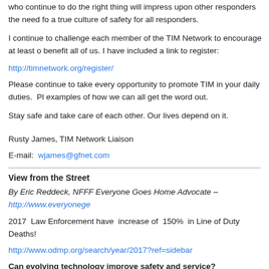who continue to do the right thing will impress upon other responders the need for a true culture of safety for all responders.
I continue to challenge each member of the TIM Network to encourage at least one benefit all of us. I have included a link to register:
http://timnetwork.org/register/
Please continue to take every opportunity to promote TIM in your daily duties. Pl examples of how we can all get the word out.
Stay safe and take care of each other. Our lives depend on it.
Rusty James, TIM Network Liaison
E-mail: wjames@gfnet.com
View from the Street
By Eric Reddeck, NFFF Everyone Goes Home Advocate – http://www.everyoneg
2017 Law Enforcement have increase of 150% in Line of Duty Deaths!
http://www.odmp.org/search/year/2017?ref=sidebar
Can evolving technology improve safety and service? https://www.everyone